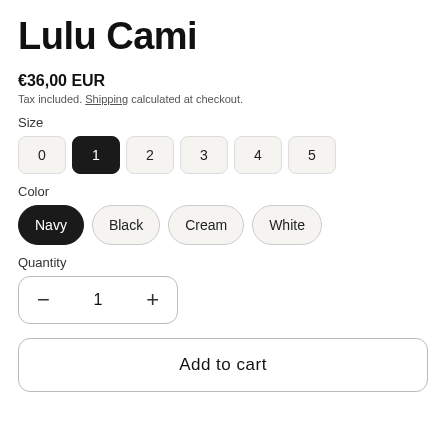Lulu Cami
€36,00 EUR
Tax included. Shipping calculated at checkout.
Size
0  1  2  3  4  5 (size options, 1 selected)
Color
Navy  Black  Cream  White (Navy selected)
Quantity
− 1 + (quantity control)
Add to cart